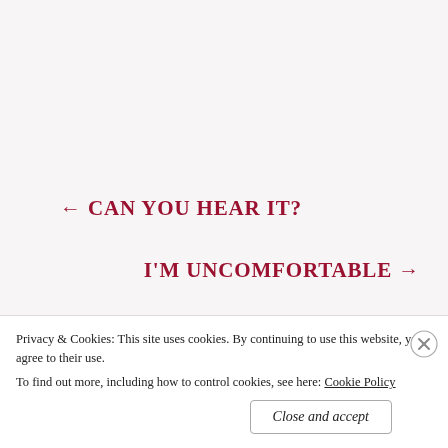← CAN YOU HEAR IT?
I'M UNCOMFORTABLE →
Privacy & Cookies: This site uses cookies. By continuing to use this website, you agree to their use.
To find out more, including how to control cookies, see here: Cookie Policy
Close and accept